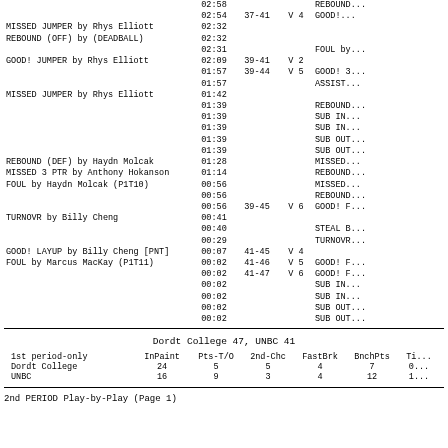| HOME | TIME | SCORE | MARGIN | VISITOR |
| --- | --- | --- | --- | --- |
|  | 02:58 |  |  | REBOUND... |
|  | 02:54 | 37-41 | V 4 | GOOD!... |
| MISSED JUMPER by Rhys Elliott | 02:32 |  |  |  |
| REBOUND (OFF) by (DEADBALL) | 02:32 |  |  |  |
|  | 02:31 |  |  | FOUL by... |
| GOOD! JUMPER by Rhys Elliott | 02:09 | 39-41 | V 2 |  |
|  | 01:57 | 39-44 | V 5 | GOOD!... |
|  | 01:57 |  |  | ASSIST... |
| MISSED JUMPER by Rhys Elliott | 01:42 |  |  |  |
|  | 01:39 |  |  | REBOUND... |
|  | 01:39 |  |  | SUB IN... |
|  | 01:39 |  |  | SUB IN... |
|  | 01:39 |  |  | SUB OUT... |
|  | 01:39 |  |  | SUB OUT... |
| REBOUND (DEF) by Haydn Molcak | 01:28 |  |  | MISSED... |
| MISSED 3 PTR by Anthony Hokanson | 01:14 |  |  | REBOUND... |
| FOUL by Haydn Molcak (P1T10) | 00:56 |  |  | MISSED... |
|  | 00:56 |  |  | REBOUND... |
|  | 00:56 | 39-45 | V 6 | GOOD!... |
| TURNOVR by Billy Cheng | 00:41 |  |  |  |
|  | 00:40 |  |  | STEAL... |
|  | 00:29 |  |  | TURNOVR... |
| GOOD! LAYUP by Billy Cheng [PNT] | 00:07 | 41-45 | V 4 |  |
| FOUL by Marcus MacKay (P1T11) | 00:02 | 41-46 | V 5 | GOOD!... |
|  | 00:02 | 41-47 | V 6 | GOOD!... |
|  | 00:02 |  |  | SUB IN... |
|  | 00:02 |  |  | SUB IN... |
|  | 00:02 |  |  | SUB OUT... |
|  | 00:02 |  |  | SUB OUT... |
Dordt College 47, UNBC 41
| 1st period-only | InPaint | Pts-T/O | 2nd-Chc | FastBrk | BnchPts | Ti... |
| --- | --- | --- | --- | --- | --- | --- |
| Dordt College | 24 | 5 | 5 | 4 | 7 | 0... |
| UNBC | 16 | 9 | 3 | 4 | 12 | 1... |
2nd PERIOD Play-by-Play (Page 1)